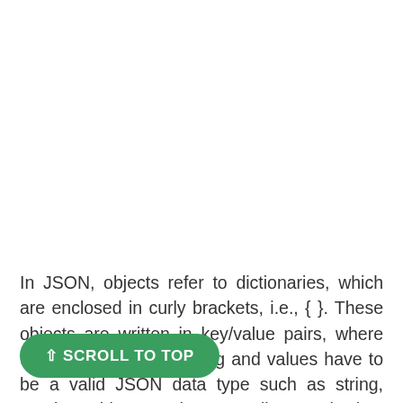In JSON, objects refer to dictionaries, which are enclosed in curly brackets, i.e., { }. These objects are written in key/value pairs, where the key has to be a string and values have to be a valid JSON data type such as string, number, object, Boolean or null. Here the key and values are separated by a colon and a comma separates each key/value pair.